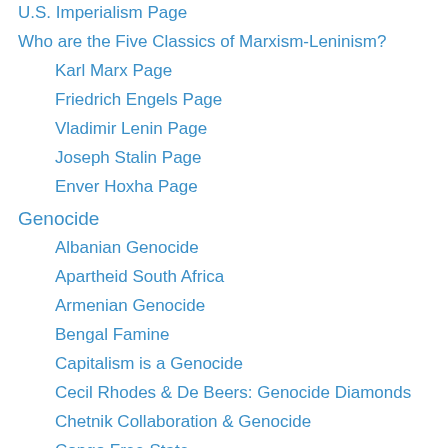U.S. Imperialism Page
Who are the Five Classics of Marxism-Leninism?
Karl Marx Page
Friedrich Engels Page
Vladimir Lenin Page
Joseph Stalin Page
Enver Hoxha Page
Genocide
Albanian Genocide
Apartheid South Africa
Armenian Genocide
Bengal Famine
Capitalism is a Genocide
Cecil Rhodes & De Beers: Genocide Diamonds
Chetnik Collaboration & Genocide
Congo Free State
Fascist Croatia
Guatemalan Mayan Genocide
Herero and Namaqua Genocide
Indonesia & East Timor